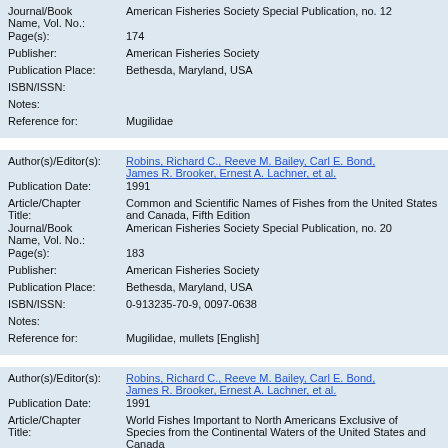| Journal/Book Name, Vol. No.: | American Fisheries Society Special Publication, no. 12 |
| Page(s): | 174 |
| Publisher: | American Fisheries Society |
| Publication Place: | Bethesda, Maryland, USA |
| ISBN/ISSN: |  |
| Notes: |  |
| Reference for: | Mugilidae |
| Author(s)/Editor(s): | Robins, Richard C., Reeve M. Bailey, Carl E. Bond, James R. Brooker, Ernest A. Lachner, et al. |
| Publication Date: | 1991 |
| Article/Chapter Title: | Common and Scientific Names of Fishes from the United States and Canada, Fifth Edition |
| Journal/Book Name, Vol. No.: | American Fisheries Society Special Publication, no. 20 |
| Page(s): | 183 |
| Publisher: | American Fisheries Society |
| Publication Place: | Bethesda, Maryland, USA |
| ISBN/ISSN: | 0-913235-70-9, 0097-0638 |
| Notes: |  |
| Reference for: | Mugilidae, mullets [English] |
| Author(s)/Editor(s): | Robins, Richard C., Reeve M. Bailey, Carl E. Bond, James R. Brooker, Ernest A. Lachner, et al. |
| Publication Date: | 1991 |
| Article/Chapter Title: | World Fishes Important to North Americans Exclusive of Species from the Continental Waters of the United States and Canada |
| Journal/Book Name, Vol. No.: | American Fisheries Society Special Publication, no. 21 |
| Page(s): | 243 |
| Publisher: | American Fisheries Society |